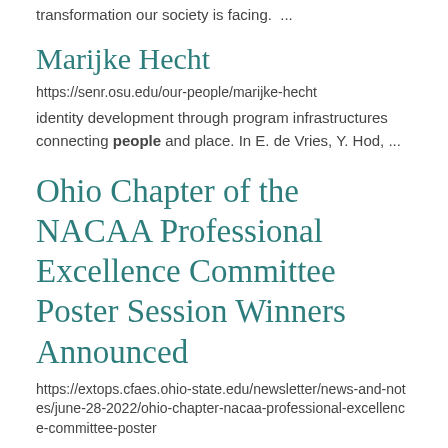transformation our society is facing. ...
Marijke Hecht
https://senr.osu.edu/our-people/marijke-hecht
identity development through program infrastructures connecting people and place. In E. de Vries, Y. Hod, ...
Ohio Chapter of the NACAA Professional Excellence Committee Poster Session Winners Announced
https://extops.cfaes.ohio-state.edu/newsletter/news-and-notes/june-28-2022/ohio-chapter-nacaa-professional-excellence-committee-poster